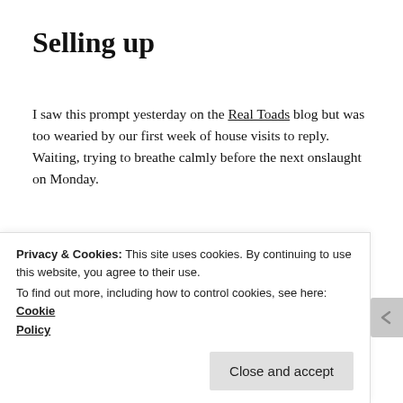Selling up
I saw this prompt yesterday on the Real Toads blog but was too wearied by our first week of house visits to reply. Waiting, trying to breathe calmly before the next onslaught on Monday.
[Figure (photo): Indoor photo showing a room interior with a lamp or microphone stand on the right side and a window on the left, muted gray-green tones.]
Privacy & Cookies: This site uses cookies. By continuing to use this website, you agree to their use.
To find out more, including how to control cookies, see here: Cookie Policy
Close and accept